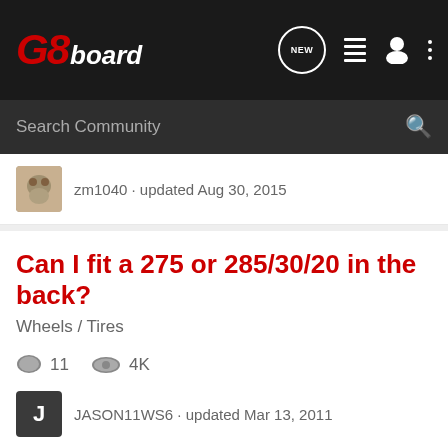G8board
Search Community
zm1040 · updated Aug 30, 2015
Can I fit a 275 or 285/30/20 in the back?
Wheels / Tires
11  4K
JASON11WS6 · updated Mar 13, 2011
Anyone running a 25 series tire?
Wheels / Tires
10  658
Ewing · updated Oct 21, 2010